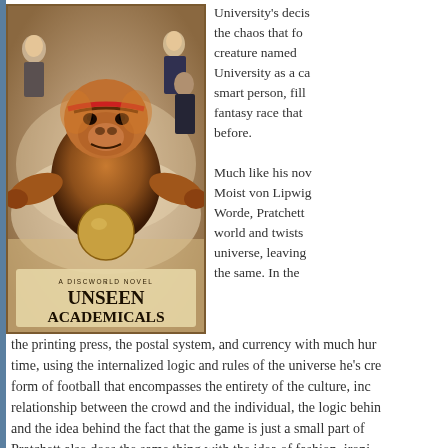[Figure (illustration): Book cover of 'Unseen Academicals' - A Discworld Novel, showing an orangutan holding a round object, with other figures in the background on a cream/aged parchment background]
University's decision, the chaos that follows, creature named University as a ca smart person, fill fantasy race that before.
Much like his nov Moist von Lipwig Worde, Pratchett world and twists universe, leaving the same. In the the printing press, the postal system, and currency with much humor time, using the internalized logic and rules of the universe he's created, form of football that encompasses the entirety of the culture, including the relationship between the crowd and the individual, the logic behind the game and the idea behind the fact that the game is just a small part of it. Pratchett also does the same thing with the idea of fashion, ironically dwarves, who, instead of fabric, have their models strut around in